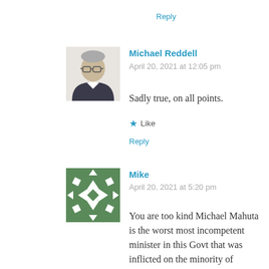Reply
[Figure (photo): Profile photo of Michael Reddell — a man with glasses and grey hair wearing a dark jacket]
Michael Reddell
April 20, 2021 at 12:05 pm
Sadly true, on all points.
★ Like
Reply
[Figure (illustration): Green and white geometric pattern avatar for commenter Mike]
Mike
April 20, 2021 at 5:20 pm
You are too kind Michael Mahuta is the worst most incompetent minister in this Govt that was inflicted on the minority of